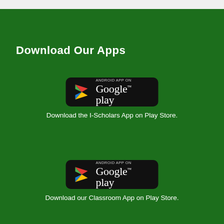Download Our Apps
[Figure (logo): Google Play Store badge for Android app]
Download the I-Scholars App on Play Store.
[Figure (logo): Google Play Store badge for Android app]
Download our Classroom App on Play Store.